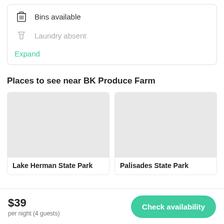Bins available
Laundry absent
Expand
Places to see near BK Produce Farm
[Figure (photo): Photo placeholder for Lake Herman State Park]
Lake Herman State Park
[Figure (photo): Photo placeholder for Palisades State Park]
Palisades State Park
$39
per night (4 guests)
Check availability